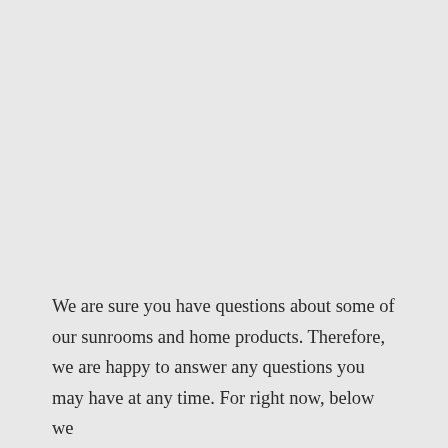We are sure you have questions about some of our sunrooms and home products. Therefore, we are happy to answer any questions you may have at any time. For right now, below we